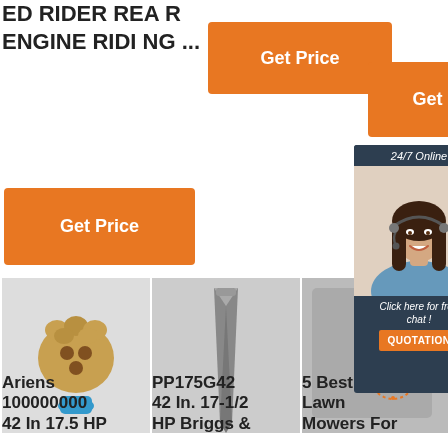ED RIDER REAR ENGINE RIDING ...
[Figure (other): Orange Get Price button (top center)]
[Figure (other): Orange Get Price button (top right)]
[Figure (other): Orange Get Price button (left mid)]
[Figure (other): 24/7 Online chat widget with female customer service representative, Click here for free chat!, QUOTATION button]
[Figure (photo): Drill bit / auger tool with blue base on white background]
[Figure (photo): Metal narrow wedge or chipping tool on white background]
[Figure (photo): Third product image (partially visible)]
Ariens 100000000 42 In 17.5 HP
PP175G42 42 In. 17-1/2 HP Briggs &
5 Best Riding Lawn Mowers For The M...